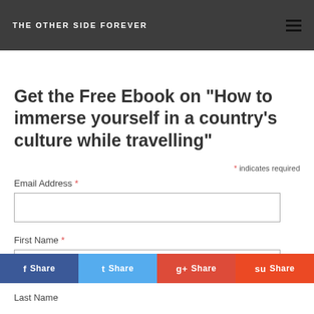THE OTHER SIDE FOREVER
Get the Free Ebook on "How to immerse yourself in a country's culture while travelling"
* indicates required
Email Address *
First Name *
Last Name